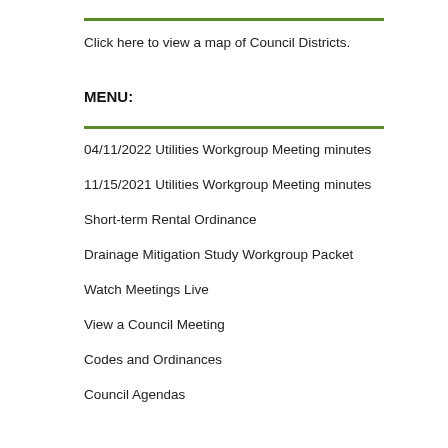Click here to view a map of Council Districts.
MENU:
04/11/2022 Utilities Workgroup Meeting minutes
11/15/2021 Utilities Workgroup Meeting minutes
Short-term Rental Ordinance
Drainage Mitigation Study Workgroup Packet
Watch Meetings Live
View a Council Meeting
Codes and Ordinances
Council Agendas